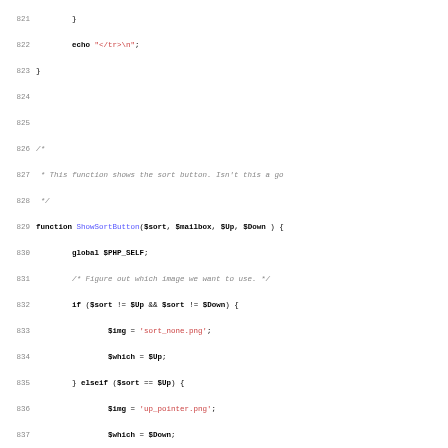[Figure (screenshot): PHP source code listing, lines 821-852, showing a function ShowSortButton with logic for determining sort button images and URL construction.]